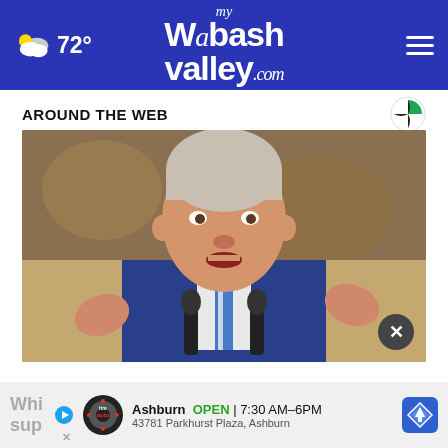72° myWabashValley.com
AROUND THE WEB
[Figure (photo): Man in blue suit speaking at a podium with two microphones, gesturing with hands raised, in front of a painting background.]
Whi sup
Ashburn OPEN 7:30 AM–6PM 43781 Parkhurst Plaza, Ashburn